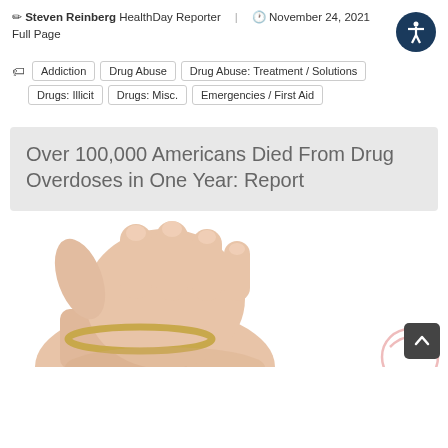✏ Steven Reinberg HealthDay Reporter | 🕐 November 24, 2021 Full Page
Addiction
Drug Abuse
Drug Abuse: Treatment / Solutions
Drugs: Illicit
Drugs: Misc.
Emergencies / First Aid
Over 100,000 Americans Died From Drug Overdoses in One Year: Report
[Figure (photo): A hand holding a round pill or object, with wrist visible and a blurred circular icon partially visible at bottom right.]